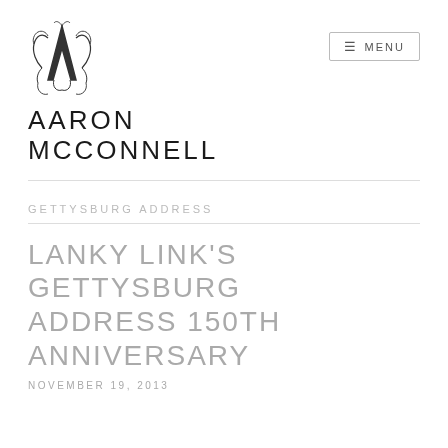[Figure (logo): AMC stylized gothic logo mark for Aaron McConnell]
AARON MCCONNELL
GETTYSBURG ADDRESS
LANKY LINK'S GETTYSBURG ADDRESS 150TH ANNIVERSARY
NOVEMBER 19, 2013